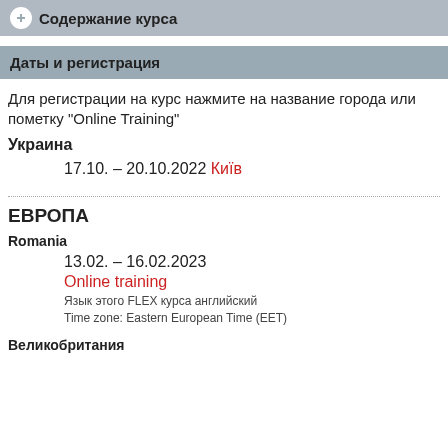Содержание курса
Даты и регистрация
Для регистрации на курс нажмите на название города или пометку "Online Training"
Украина
17.10. – 20.10.2022 Київ
ЕВРОПА
Romania
13.02. – 16.02.2023
Online training
Язык этого FLEX курса английский
Time zone: Eastern European Time (EET)
Великобритания